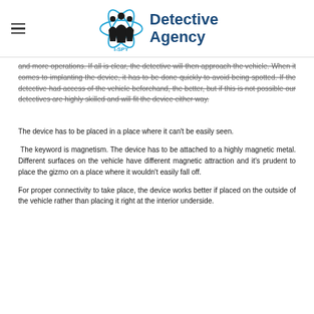I-SPY Detective Agency
and more operations. If all is clear, the detective will then approach the vehicle. When it comes to implanting the device, it has to be done quickly to avoid being spotted. If the detective had access of the vehicle beforehand, the better, but if this is not possible our detectives are highly skilled and will fit the device either way.
The device has to be placed in a place where it can't be easily seen.
The keyword is magnetism. The device has to be attached to a highly magnetic metal. Different surfaces on the vehicle have different magnetic attraction and it's prudent to place the gizmo on a place where it wouldn't easily fall off.
For proper connectivity to take place, the device works better if placed on the outside of the vehicle rather than placing it right at the interior underside.